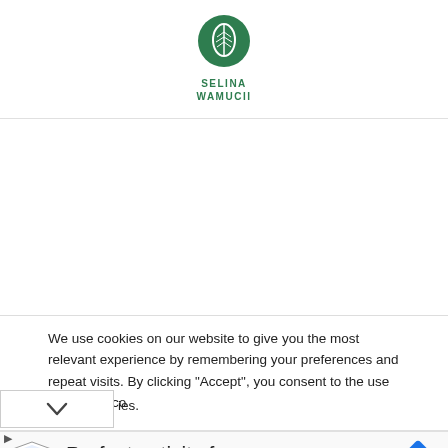[Figure (logo): Selina Wamucii logo — green circular leaf/wheat emblem above text 'SELINA WAMUCII' in green]
We use cookies on our website to give you the most relevant experience by remembering your preferences and repeat visits. By clicking “Accept”, you consent to the use of ALL the cookies.
[Figure (infographic): Advertisement banner: Topgolf logo (shield shape), text 'Perfect activity for everyone', 'Topgolf' in blue, blue diamond arrow icon on right. Close (X) and play button controls at lower left.]